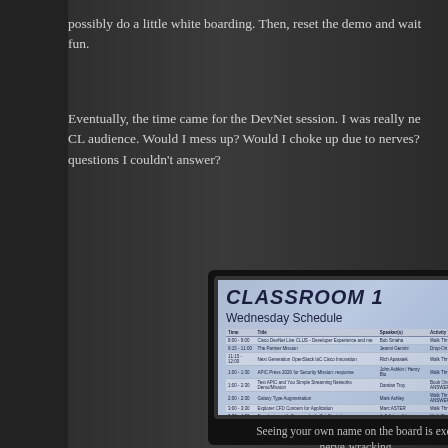possibly do a little white boarding. Then, reset the demo and wait for fun.
Eventually, the time came for the DevNet session. I was really ne CL audience. Would I mess up? Would I choke up due to nerves? questions I couldn't answer?
[Figure (photo): A photo of a classroom schedule board showing 'CLASSROOM 1' in bold italic text and 'Wednesday Schedule' with a table of sessions below.]
Seeing your own name on the board is exci nerve-wracking